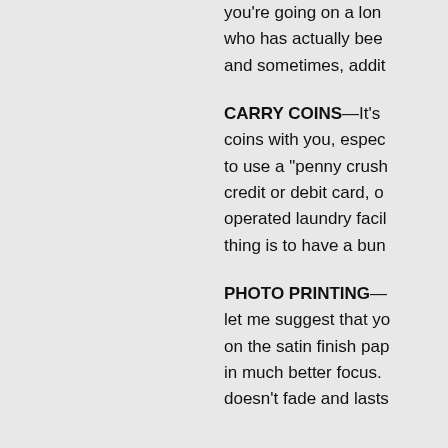you're going on a long trip, find someone who has actually been there and sometimes, addit
CARRY COINS—It's coins with you, espec to use a "penny crush" credit or debit card, o operated laundry facil thing is to have a bun
PHOTO PRINTING— let me suggest that yo on the satin finish pap in much better focus. doesn't fade and lasts